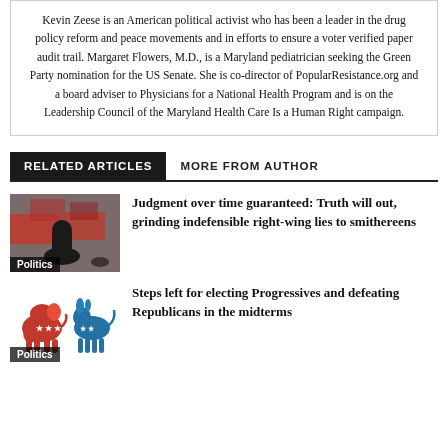Kevin Zeese is an American political activist who has been a leader in the drug policy reform and peace movements and in efforts to ensure a voter verified paper audit trail. Margaret Flowers, M.D., is a Maryland pediatrician seeking the Green Party nomination for the US Senate. She is co-director of PopularResistance.org and a board adviser to Physicians for a National Health Program and is on the Leadership Council of the Maryland Health Care Is a Human Right campaign.
RELATED ARTICLES
MORE FROM AUTHOR
[Figure (photo): Photo of a political rally with a figure in the foreground and red campaign signs behind, with a Politics category label overlay.]
Judgment over time guaranteed: Truth will out, grinding indefensible right-wing lies to smithereens
[Figure (illustration): Illustration showing Republican elephant and Democratic donkey logos side by side, with a Politics category label overlay.]
Steps left for electing Progressives and defeating Republicans in the midterms